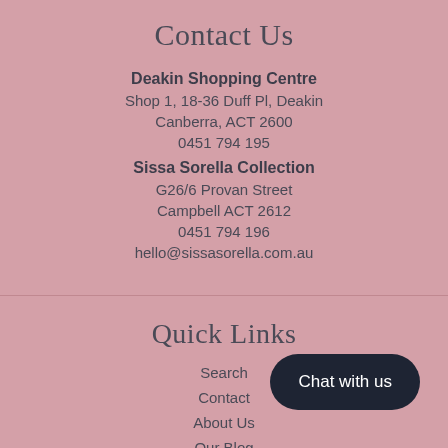Contact Us
Deakin Shopping Centre
Shop 1, 18-36 Duff Pl, Deakin
Canberra, ACT 2600
0451 794 195
Sissa Sorella Collection
G26/6 Provan Street
Campbell ACT 2612
0451 794 196
hello@sissasorella.com.au
Quick Links
Search
Contact
About Us
Our Blog
Chat with us